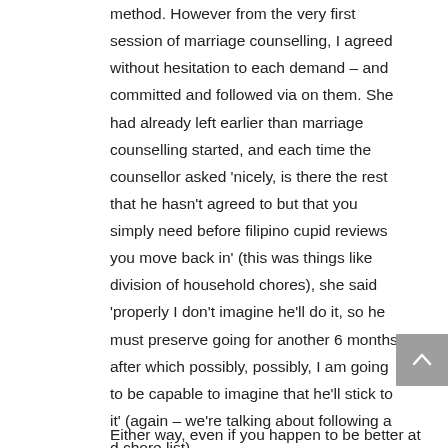method. However from the very first session of marriage counselling, I agreed without hesitation to each demand – and committed and followed via on them. She had already left earlier than marriage counselling started, and each time the counsellor asked 'nicely, is there the rest that he hasn't agreed to but that you simply need before filipino cupid reviews you move back in' (this was things like division of household chores), she said 'properly I don't imagine he'll do it, so he must preserve going for another 6 months after which possibly, possibly, I am going to be capable to imagine that he'll stick to it' (again – we're talking about following a d chore list).
Either way, even if you happen to be better at